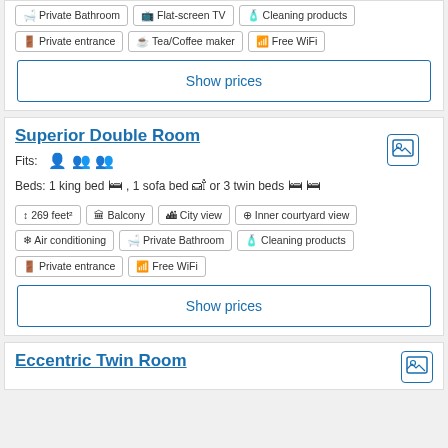Private Bathroom, Flat-screen TV, Cleaning products, Private entrance, Tea/Coffee maker, Free WiFi
Show prices
Superior Double Room
Fits: 3 persons
Beds: 1 king bed , 1 sofa bed or 3 twin beds
269 feet², Balcony, City view, Inner courtyard view, Air conditioning, Private Bathroom, Cleaning products, Private entrance, Free WiFi
Show prices
Eccentric Twin Room